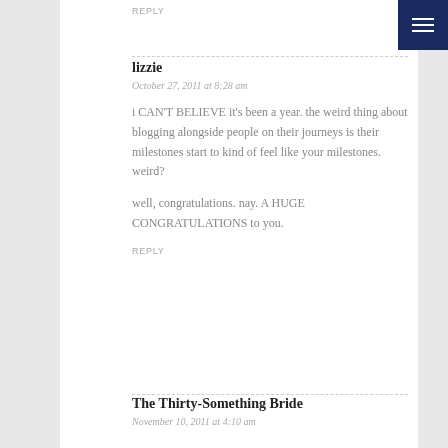REPLY
lizzie
October 27, 2011 at 8:28 am
i CAN'T BELIEVE it's been a year. the weird thing about blogging alongside people on their journeys is their milestones start to kind of feel like your milestones. weird?
well, congratulations. nay. A HUGE CONGRATULATIONS to you.
REPLY
The Thirty-Something Bride
November 10, 2011 at 4:10 am